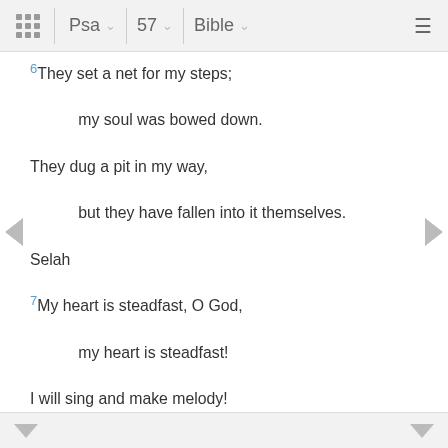Psa  57  Bible
6 They set a net for my steps;
    my soul was bowed down.
They dug a pit in my way,
    but they have fallen into it themselves.
Selah
7 My heart is steadfast, O God,
    my heart is steadfast!
I will sing and make melody!
8     Awake, my glory!b
Awake, O harp and lyre!
    I will awake the dawn!
9 I will give thanks to you, O Lord, among the peoples;
    I will sing praises to you among the nations.
10 For your steadfast love is great to the heavens,